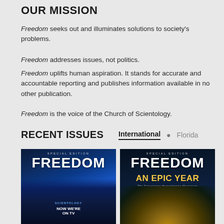OUR MISSION
Freedom seeks out and illuminates solutions to society's problems.
Freedom addresses issues, not politics.
Freedom uplifts human aspiration. It stands for accurate and accountable reporting and publishes information available in no other publication.
Freedom is the voice of the Church of Scientology.
RECENT ISSUES
International • Florida
[Figure (photo): Cover of Freedom magazine Special Edition showing a Scientology building lit up in blue neon at night with text NOW WE'RE ON TV]
[Figure (photo): Cover of Freedom magazine Special Edition titled AN EPIC YEAR The Scientology Humanitarian Movement, showing Earth from space with golden light]